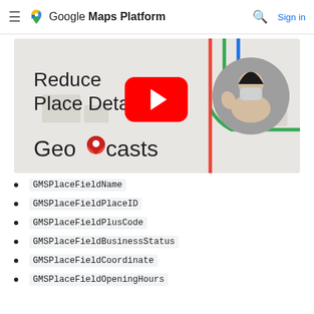Google Maps Platform — Sign in
[Figure (screenshot): YouTube video thumbnail showing 'Reduce Place Details' title with YouTube play button overlay, a person in a mask in a circular frame, and 'Geocasts' branding with a map pin logo. Background has colorful route lines on a light map grid.]
GMSPlaceFieldName
GMSPlaceFieldPlaceID
GMSPlaceFieldPlusCode
GMSPlaceFieldBusinessStatus
GMSPlaceFieldCoordinate
GMSPlaceFieldOpeningHours